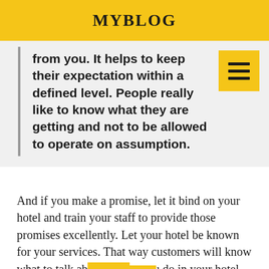MYBLOG
from you. It helps to keep their expectation within a defined level. People really like to know what they are getting and not to be allowed to operate on assumption.
And if you make a promise, let it bind on your hotel and train your staff to provide those promises excellently. Let your hotel be known for your services. That way customers will know what to talk about what you do in your hotel. That's a good way to rebrand your hotel.